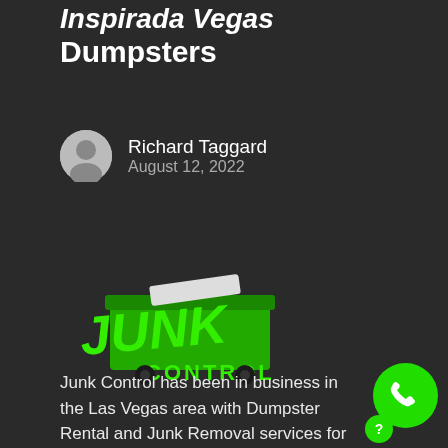Inspirada Vegas Dumpsters
Richard Taggard
August 12, 2022
[Figure (logo): Junk Control logo — stylized green text 'JUNK CONTROL' with a dumpster graphic]
Junk Control has been in business in the Las Vegas area with Dumpster Rental and Junk Removal services for